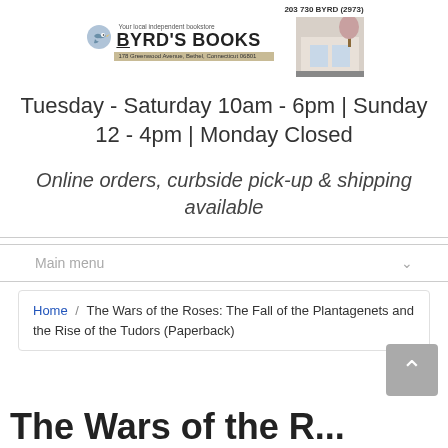[Figure (logo): Byrd's Books logo with bird icon, tagline 'Your local independent bookstore', phone number 203 730 BYRD (2973), store photo, and address 178 Greenwood Avenue, Bethel, Connecticut 06801]
Tuesday - Saturday 10am - 6pm | Sunday 12 - 4pm | Monday Closed
Online orders, curbside pick-up & shipping available
Main menu
Home / The Wars of the Roses: The Fall of the Plantagenets and the Rise of the Tudors (Paperback)
The Wars of the R...